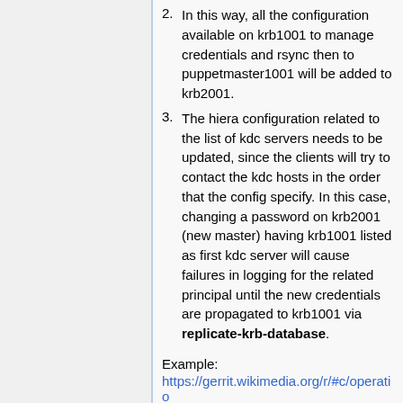2. In this way, all the configuration available on krb1001 to manage credentials and rsync then to puppetmaster1001 will be added to krb2001.
3. The hiera configuration related to the list of kdc servers needs to be updated, since the clients will try to contact the kdc hosts in the order that the config specify. In this case, changing a password on krb2001 (new master) having krb1001 listed as first kdc server will cause failures in logging for the related principal until the new credentials are propagated to krb1001 via replicate-krb-database.
Example:
https://gerrit.wikimedia.org/r/#c/operatio